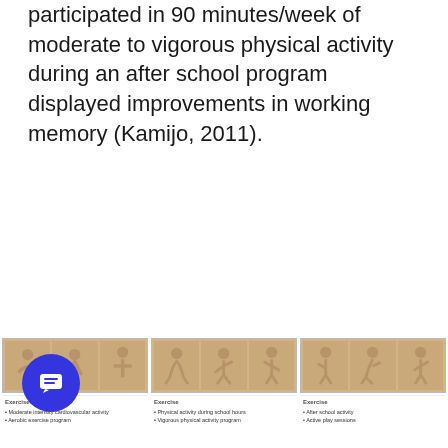participated in 90 minutes/week of moderate to vigorous physical activity during an after school program displayed improvements in working memory (Kamijo, 2011).
[Figure (illustration): Three groups of thumbnail images showing physical activity illustrations with captions below each group. The thumbnails appear to show human figures in various exercise poses on a tan/brown background.]